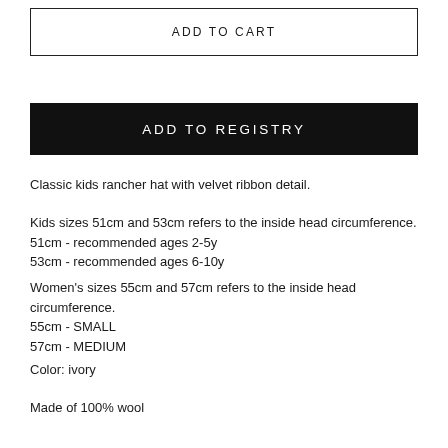ADD TO CART
ADD TO REGISTRY
Classic kids rancher hat with velvet ribbon detail.
Kids sizes 51cm and 53cm refers to the inside head circumference.
51cm - recommended ages 2-5y
53cm - recommended ages 6-10y
Women's sizes 55cm and 57cm refers to the inside head circumference.
55cm - SMALL
57cm - MEDIUM
Color: ivory
Made of 100% wool